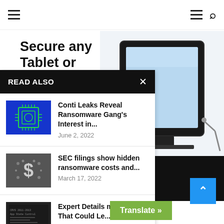Navigation bar with hamburger menu and search icon
Secure any Tablet or
[Figure (photo): Tablet device secured with cable lock on stand, white background]
READ ALSO
Conti Leaks Reveal Ransomware Gang's Interest in...
June 2, 2022
SEC filings show hidden ransomware costs and...
March 17, 2022
Expert Details macOS Bug That Could Le...
Translate »